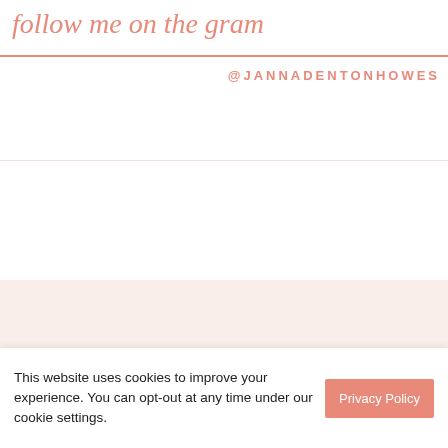follow me on the gram
@JANNADENTONHOWES
Get around
The Program
Blog
This website uses cookies to improve your experience. You can opt-out at any time under our cookie settings.
Privacy Policy